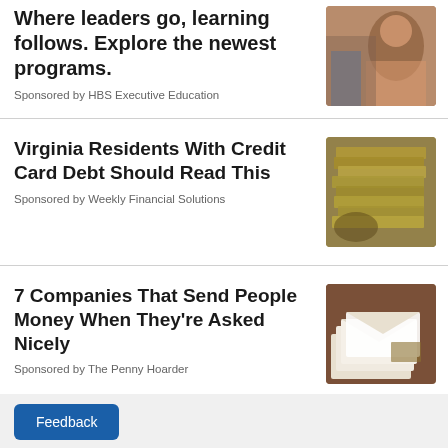Where leaders go, learning follows. Explore the newest programs.
Sponsored by HBS Executive Education
[Figure (photo): Woman at a learning/education event, pink top]
Virginia Residents With Credit Card Debt Should Read This
Sponsored by Weekly Financial Solutions
[Figure (photo): Stack of cash money bills fanned out]
7 Companies That Send People Money When They're Asked Nicely
Sponsored by The Penny Hoarder
[Figure (photo): Envelopes with money on a wooden table]
Feedback